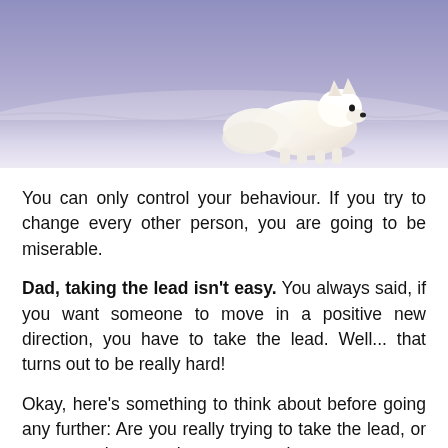[Figure (photo): An arctic fox standing on a snowy landscape, photographed from the side. The fox is white with a thick coat, standing in a wide open snowy tundra scene with a purple-blue sky and sunlit snow.]
You can only control your behaviour. If you try to change every other person, you are going to be miserable.
Dad, taking the lead isn't easy.  You always said, if you want someone to move in a positive new direction, you have to take the lead.  Well... that turns out to be really hard!
Okay, here’s something to think about before going any further:  Are you really trying to take the lead, or are you trying to make someone else